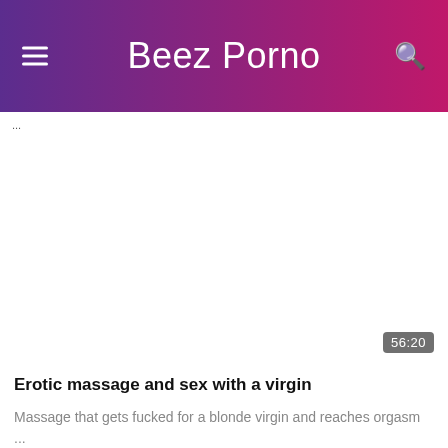Beez Porno
...
[Figure (screenshot): Video thumbnail placeholder, white/blank area with duration badge showing 56:20]
Erotic massage and sex with a virgin
Massage that gets fucked for a blonde virgin and reaches orgasm ...